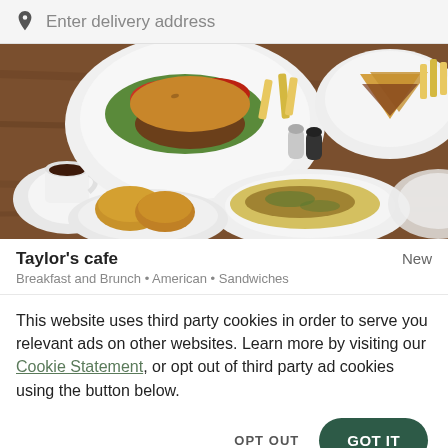Enter delivery address
[Figure (photo): Overhead photo of cafe food: plates with burger, tomatoes, lettuce, fries, sandwich, omelette, biscuits, and a cup of coffee on a wooden table]
Taylor's cafe
New
Breakfast and Brunch • American • Sandwiches
This website uses third party cookies in order to serve you relevant ads on other websites. Learn more by visiting our Cookie Statement, or opt out of third party ad cookies using the button below.
OPT OUT
GOT IT